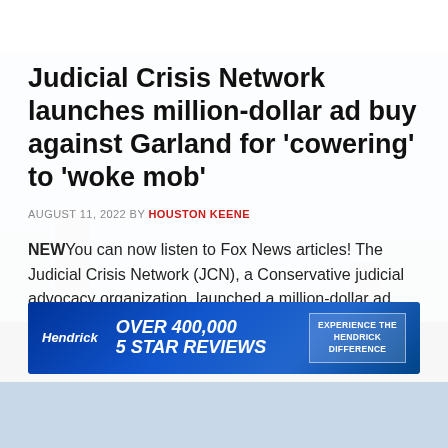Judicial Crisis Network launches million-dollar ad buy against Garland for 'cowering' to 'woke mob'
AUGUST 11, 2022 BY HOUSTON KEENE
NEWYou can now listen to Fox News articles! The Judicial Crisis Network (JCN), a Conservative judicial advocacy organization, launched a million-dollar ad buy against Attorney General Merrick … [Read more...]
[Figure (infographic): Hendrick automotive advertisement banner: 'OVER 400,000 5 STAR REVIEWS' with 'EXPERIENCE THE HENDRICK DIFFERENCE' call to action button on blue background]